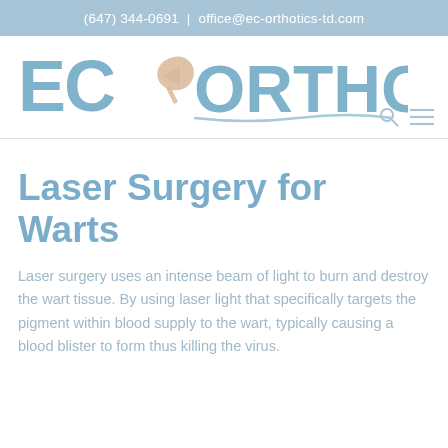(647) 344-0691  |  office@ec-orthotics-td.com
[Figure (logo): EC Orthotics logo with stylized text and foot/arrow graphic in blue and tan colors]
Laser Surgery for Warts
Laser surgery uses an intense beam of light to burn and destroy the wart tissue. By using laser light that specifically targets the pigment within blood supply to the wart, typically causing a blood blister to form thus killing the virus.